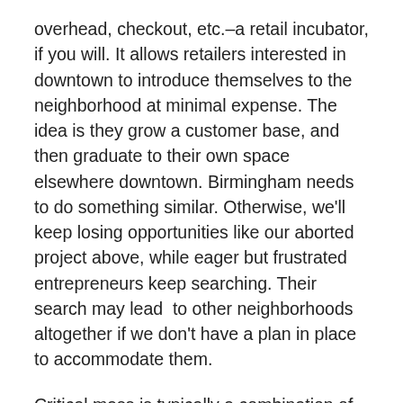overhead, checkout, etc.–a retail incubator, if you will. It allows retailers interested in downtown to introduce themselves to the neighborhood at minimal expense. The idea is they grow a customer base, and then graduate to their own space elsewhere downtown. Birmingham needs to do something similar. Otherwise, we'll keep losing opportunities like our aborted project above, while eager but frustrated entrepreneurs keep searching. Their search may lead  to other neighborhoods altogether if we don't have a plan in place to accommodate them.
Critical mass is typically a combination of the organic and the planned. Here on Second Avenue North the organic has come a good ways. It's time for some planning to keep it going. More on that next post.
[thanks to Downtown Mobile Alliance for the Urban